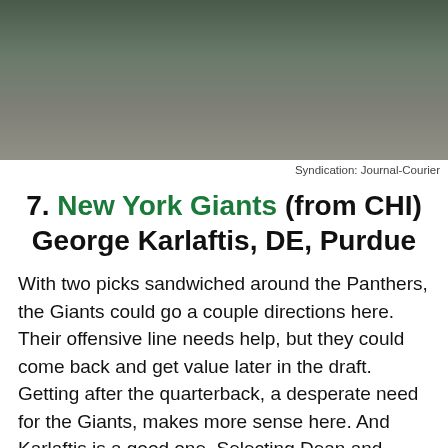[Figure (photo): Sports photograph showing football players in action on the field]
Syndication: Journal-Courier
7. New York Giants (from CHI) George Karlaftis, DE, Purdue
With two picks sandwiched around the Panthers, the Giants could go a couple directions here. Their offensive line needs help, but they could come back and get value later in the draft. Getting after the quarterback, a desperate need for the Giants, makes more sense here. And Karlaftis is a good one. Selecting Dean and Karlaftis completely changes the front-seven for the Giants next year.